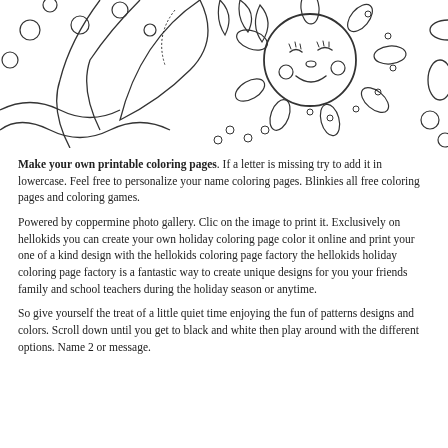[Figure (illustration): Black and white coloring page illustration showing a decorative sun face with closed eyes, surrounded by floral and leaf patterns, drawn in outline style suitable for coloring.]
Make your own printable coloring pages. If a letter is missing try to add it in lowercase. Feel free to personalize your name coloring pages. Blinkies all free coloring pages and coloring games.
Powered by coppermine photo gallery. Clic on the image to print it. Exclusively on hellokids you can create your own holiday coloring page color it online and print your one of a kind design with the hellokids coloring page factory the hellokids holiday coloring page factory is a fantastic way to create unique designs for you your friends family and school teachers during the holiday season or anytime.
So give yourself the treat of a little quiet time enjoying the fun of patterns designs and colors. Scroll down until you get to black and white then play around with the different options. Name 2 or message.